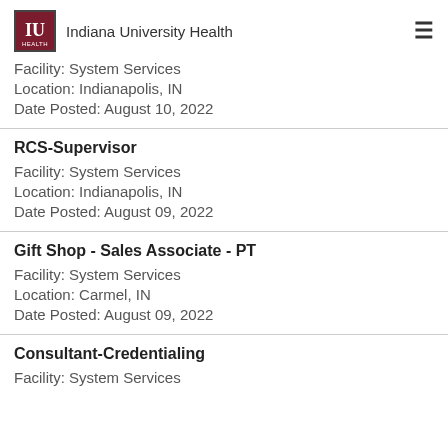Indiana University Health
Facility: System Services
Location: Indianapolis, IN
Date Posted: August 10, 2022
RCS-Supervisor
Facility: System Services
Location: Indianapolis, IN
Date Posted: August 09, 2022
Gift Shop - Sales Associate - PT
Facility: System Services
Location: Carmel, IN
Date Posted: August 09, 2022
Consultant-Credentialing
Facility: System Services